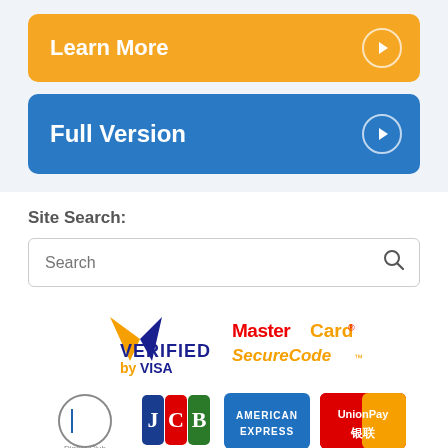[Figure (other): Orange 'Learn More' button with play icon]
[Figure (other): Blue 'Full Version' button with play icon]
Site Search:
[Figure (other): Search box with placeholder 'Search' and magnifying glass icon]
[Figure (logo): Verified by Visa logo]
[Figure (logo): MasterCard SecureCode logo]
[Figure (logo): Diners Club logo]
[Figure (logo): JCB logo]
[Figure (logo): American Express logo]
[Figure (logo): UnionPay logo]